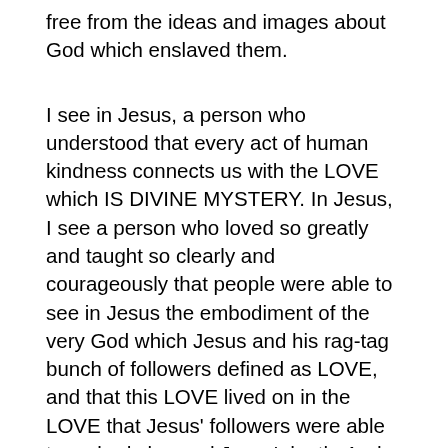free from the ideas and images about God which enslaved them.
I see in Jesus, a person who understood that every act of human kindness connects us with the LOVE which IS DIVINE MYSTERY. In Jesus, I see a person who loved so greatly and taught so clearly and courageously that people were able to see in Jesus the embodiment of the very God which Jesus and his rag-tag bunch of followers defined as LOVE, and that this LOVE lived on in the LOVE that Jesus' followers were able to embody beyond Jesus' death. And so, I tremble, tremble, tremble. I tremble because I know that the crucifixion of the embodiment of LOVE is not over. We are surrounded by crucifixions. Just as surely as Jesus died upon the cross, those who follow the Way of Jesus, the Way of justice and peace, those who embody LOVE, continue to be tortured, battered, abused and hauled up upon crosses and executed by the forces of violence and death, the